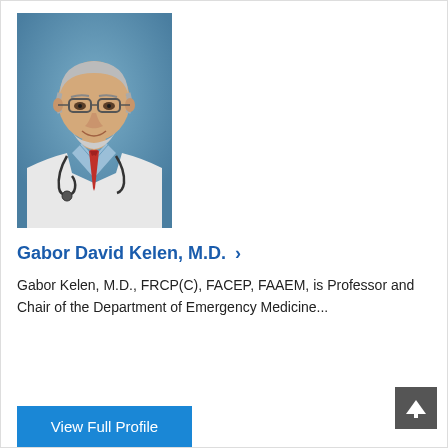[Figure (photo): Professional headshot of Dr. Gabor David Kelen, a middle-aged man with glasses, gray beard, wearing a white lab coat, blue plaid shirt, red tie, and stethoscope, against a blue background.]
Gabor David Kelen, M.D.  ›
Gabor Kelen, M.D., FRCP(C), FACEP, FAAEM, is Professor and Chair of the Department of Emergency Medicine...
View Full Profile